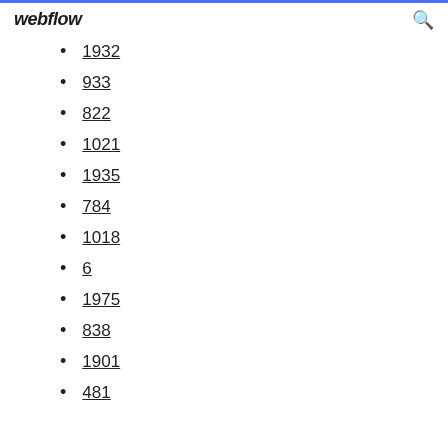webflow
1932
933
822
1021
1935
784
1018
6
1975
838
1901
481